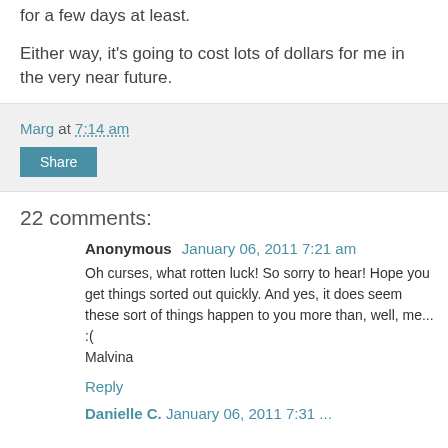for a few days at least.
Either way, it's going to cost lots of dollars for me in the very near future.
Marg at 7:14 am
Share
22 comments:
Anonymous  January 06, 2011 7:21 am
Oh curses, what rotten luck! So sorry to hear! Hope you get things sorted out quickly. And yes, it does seem these sort of things happen to you more than, well, me... :(
Malvina
Reply
Danielle C.  January 06, 2011 7:31 ...